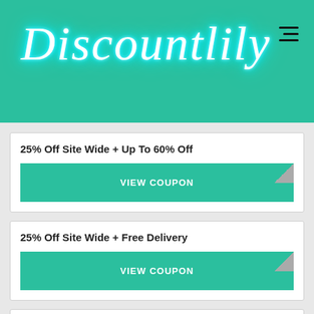[Figure (logo): Discountlily logo in neon script style on teal background with hamburger menu icon]
25% Off Site Wide + Up To 60% Off
VIEW COUPON
25% Off Site Wide + Free Delivery
VIEW COUPON
20% Off Entire Site